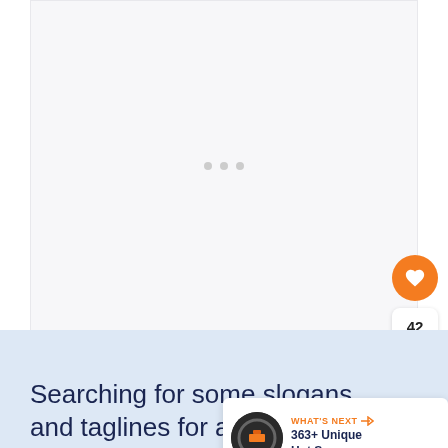[Figure (other): Large light gray placeholder image area with three small loading dots centered]
[Figure (other): Orange circular like/heart button with count 42 and share button below]
Searching for some slogans and taglines for auto repair?
[Figure (other): What's Next card with circular thumbnail and text: 363+ Unique Hot Sauce...]